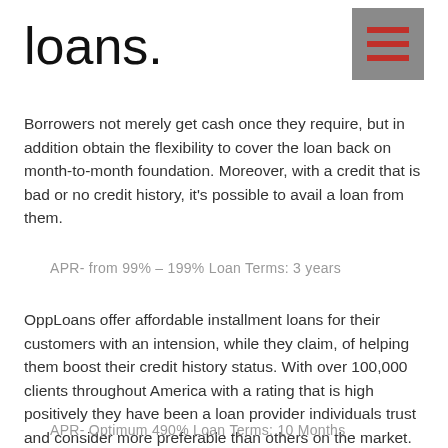loans.
[Figure (other): Hamburger menu icon — three dark red horizontal lines on a grey square background]
Borrowers not merely get cash once they require, but in addition obtain the flexibility to cover the loan back on month-to-month foundation. Moreover, with a credit that is bad or no credit history, it's possible to avail a loan from them.
APR- from 99% – 199% Loan Terms: 3 years
OppLoans offer affordable installment loans for their customers with an intension, while they claim, of helping them boost their credit history status. With over 100,000 clients throughout America with a rating that is high positively they have been a loan provider individuals trust and consider more preferable than others on the market. They don't ask for almost any collateral, but that's additionally real for many other lenders too. The mortgage application approval and process, as you expected, may also be fast.
APR- Optimum 490% Loan Terms: 10 Months